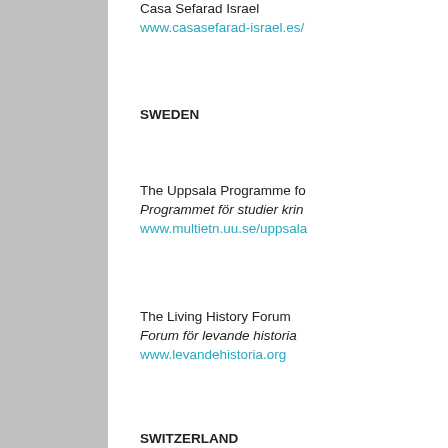Casa Sefarad Israel
www.casasefarad-israel.es/
SWEDEN
The Uppsala Programme fo...
Programmet för studier krin...
www.multietn.uu.se/uppsala...
The Living History Forum
Forum för levande historia
www.levandehistoria.org
SWITZERLAND
Action Children of the Holoc...
Aktion Kinder des Holocaus...
www.akdh.ch
Archives of Contemporary H...
Archiv für Zeitgeschichte, D...
www.afz.ethz.ch
CICAD: Coordination Interc...
Committee against Anti-Se...